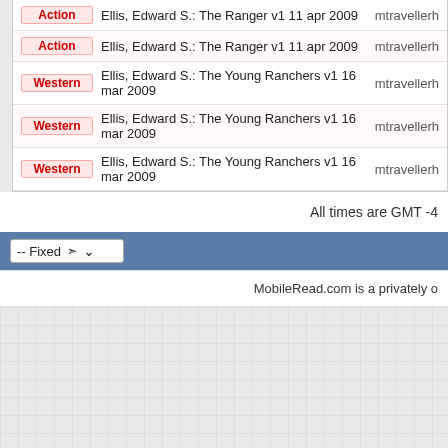| Genre | Title/Author/Date | User |
| --- | --- | --- |
| Action | Ellis, Edward S.: The Ranger v1 11 apr 2009 | mtravellerh |
| Action | Ellis, Edward S.: The Ranger v1 11 apr 2009 | mtravellerh |
| Western | Ellis, Edward S.: The Young Ranchers v1 16 mar 2009 | mtravellerh |
| Western | Ellis, Edward S.: The Young Ranchers v1 16 mar 2009 | mtravellerh |
| Western | Ellis, Edward S.: The Young Ranchers v1 16 mar 2009 | mtravellerh |
All times are GMT -4
-- Fixed
MobileRead.com is a privately o